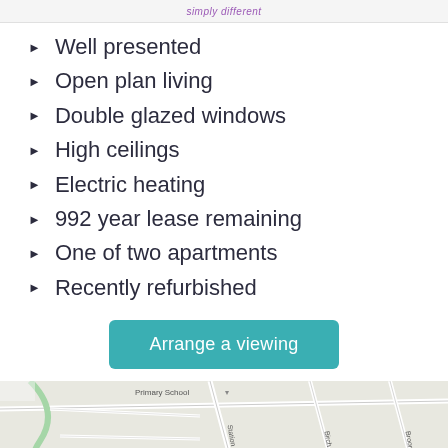simply different
Well presented
Open plan living
Double glazed windows
High ceilings
Electric heating
992 year lease remaining
One of two apartments
Recently refurbished
Arrange a viewing
[Figure (map): Street map showing The Weald Community School area with Station Rd, Birch Dr, Broomfield Dr visible]